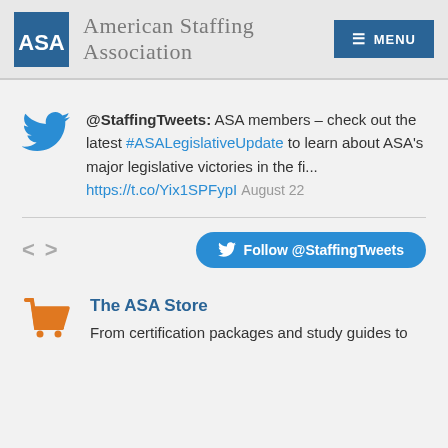American Staffing Association
@StaffingTweets: ASA members – check out the latest #ASALegislativeUpdate to learn about ASA's major legislative victories in the fi... https://t.co/Yix1SPFypI August 22
[Figure (other): Follow @StaffingTweets button and navigation arrows]
The ASA Store
From certification packages and study guides to